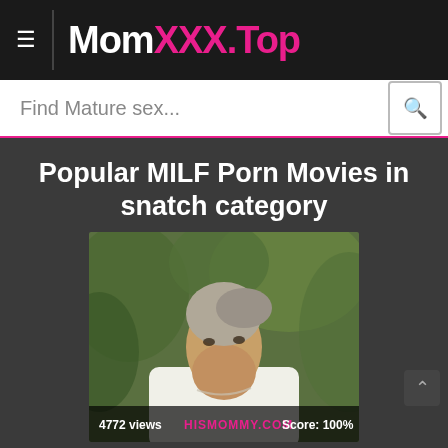MomXXX.Top
Find Mature sex...
Popular MILF Porn Movies in snatch category
[Figure (photo): Thumbnail of an older woman with grey hair pulled back, wearing white top, with greenery in background. Overlay bar shows: 4772 views | HISMOMMY.COM | Score: 100%]
4772 views   HISMOMMY.COM   Score: 100%